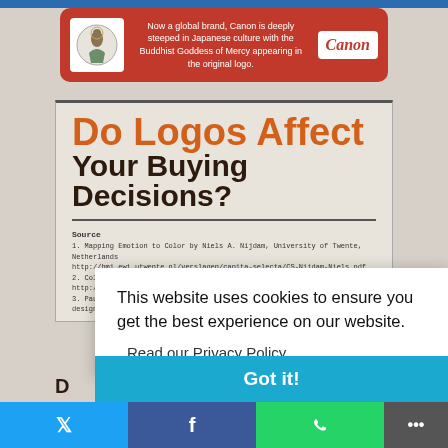[Figure (infographic): Canon brand banner in red with logo and text: Now a global brand, Canon is deeply steeped in Japanese culture with the Buddhist Goddess of Mercy appearing in the original logo.]
Do Logos Affect Your Buying Decisions?
Source
1. Mapping Emotion to Color by Niels A. Nijdam, University of Twente, Netherlands http://hmi.ewi.utwente.nl/verslagen/capita-selecta/CS-Nijdam-Niels.pdf
2. Color Wheel Pro http://www.color-wheel-pro.com/color-meaning.html
3. Paula Rupolo's brand color switching experiment http://www.fastcodedesign.com/3080636/how-much-does-color-define-a-logo-1
This website uses cookies to ensure you get the best experience on our website.
Read our Privacy Policy
Got it!